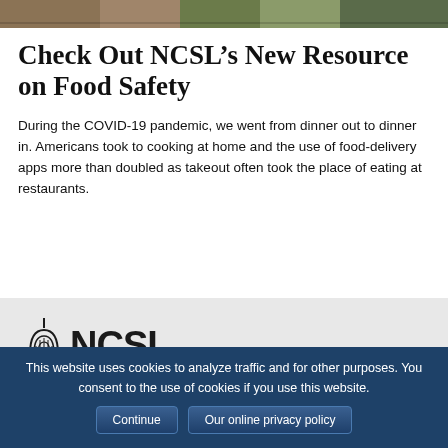[Figure (photo): Top banner image strip showing food/nature scene]
Check Out NCSL’s New Resource on Food Safety
During the COVID-19 pandemic, we went from dinner out to dinner in. Americans took to cooking at home and the use of food-delivery apps more than doubled as takeout often took the place of eating at restaurants.
[Figure (logo): NCSL logo with dome icon and NCSL wordmark]
This website uses cookies to analyze traffic and for other purposes. You consent to the use of cookies if you use this website.